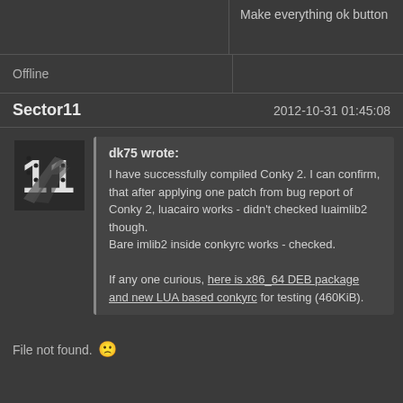Make everything ok button
Offline
Sector11
2012-10-31 01:45:08
[Figure (illustration): Avatar image showing a stylized number 11 with a military jet overlaid on a dark background]
dk75 wrote:
I have successfully compiled Conky 2. I can confirm, that after applying one patch from bug report of Conky 2, luacairo works - didn't checked luaimlib2 though.
Bare imlib2 inside conkyrc works - checked.

If any one curious, here is x86_64 DEB package and new LUA based conkyrc for testing (460KiB).
File not found. 🙁